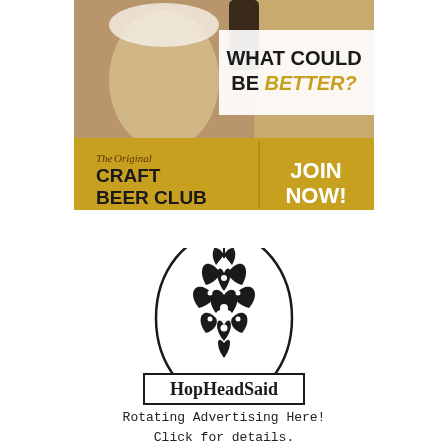[Figure (illustration): Craft Beer Club advertisement banner showing a beer being poured into a glass with text 'WHAT COULD BE BETTER?' and 'The Original CRAFT BEER CLUB JOIN NOW!' on a golden/wood background]
[Figure (logo): HopHeadSaid logo featuring a hop cone inside an oval stamp design with the text 'HopHeadSaid' in a rectangular border below]
Rotating Advertising Here!
Click for details.